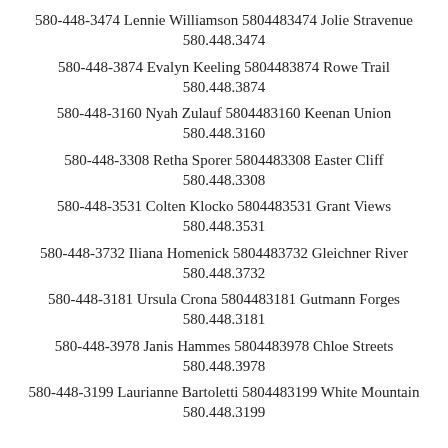580-448-3474 Lennie Williamson 5804483474 Jolie Stravenue 580.448.3474
580-448-3874 Evalyn Keeling 5804483874 Rowe Trail 580.448.3874
580-448-3160 Nyah Zulauf 5804483160 Keenan Union 580.448.3160
580-448-3308 Retha Sporer 5804483308 Easter Cliff 580.448.3308
580-448-3531 Colten Klocko 5804483531 Grant Views 580.448.3531
580-448-3732 Iliana Homenick 5804483732 Gleichner River 580.448.3732
580-448-3181 Ursula Crona 5804483181 Gutmann Forges 580.448.3181
580-448-3978 Janis Hammes 5804483978 Chloe Streets 580.448.3978
580-448-3199 Laurianne Bartoletti 5804483199 White Mountain 580.448.3199